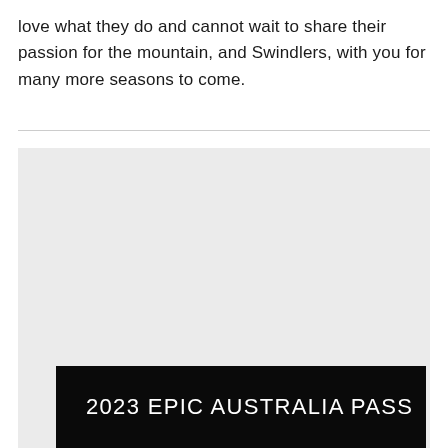love what they do and cannot wait to share their passion for the mountain, and Swindlers, with you for many more seasons to come.
[Figure (photo): A light grey rectangular placeholder image area, with a black banner overlay at the bottom containing the text '2023 EPIC AUSTRALIA PASS' in white letters.]
2023 EPIC AUSTRALIA PASS